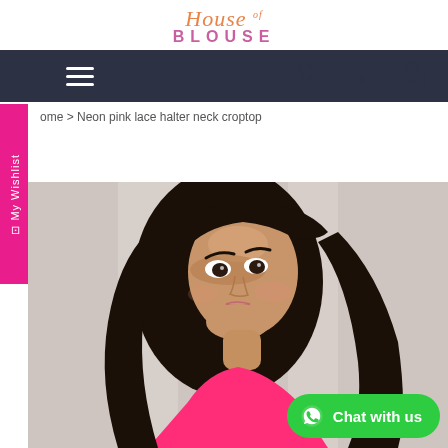House of BLOUSE
Home > Neon pink lace halter neck croptop
[Figure (photo): A female model with long dark hair wearing a neon pink lace halter neck croptop, photographed from the shoulders up against a light background.]
Chat with us